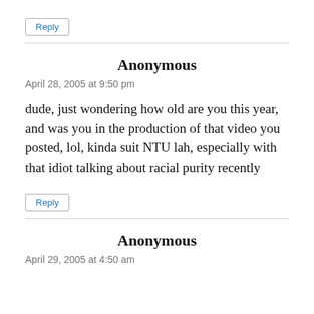Reply
Anonymous
April 28, 2005 at 9:50 pm
dude, just wondering how old are you this year, and was you in the production of that video you posted, lol, kinda suit NTU lah, especially with that idiot talking about racial purity recently
Reply
Anonymous
April 29, 2005 at 4:50 am